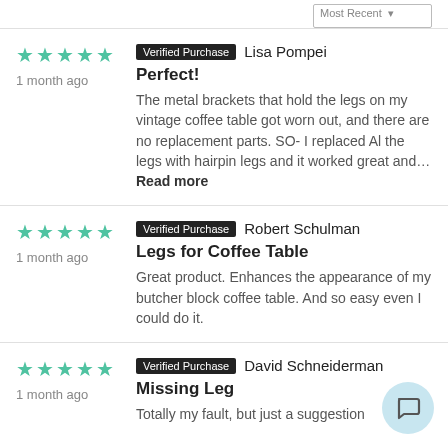Verified Purchase  Lisa Pompei
[Figure (other): 5 teal stars rating]
1 month ago
Perfect!
The metal brackets that hold the legs on my vintage coffee table got worn out, and there are no replacement parts. SO- I replaced Al the legs with hairpin legs and it worked great and… Read more
Verified Purchase  Robert Schulman
[Figure (other): 5 teal stars rating]
1 month ago
Legs for Coffee Table
Great product. Enhances the appearance of my butcher block coffee table. And so easy even I could do it.
Verified Purchase  David Schneiderman
[Figure (other): 5 teal stars rating]
1 month ago
Missing Leg
Totally my fault, but just a suggestion